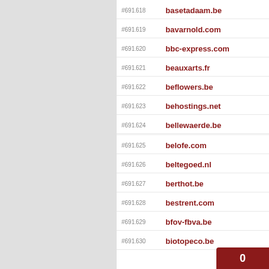#691618  basetadaam.be
#691619  bavarnold.com
#691620  bbc-express.com
#691621  beauxarts.fr
#691622  beflowers.be
#691623  behostings.net
#691624  bellewaerde.be
#691625  belofe.com
#691626  beltegoed.nl
#691627  berthot.be
#691628  bestrent.com
#691629  bfov-fbva.be
#691630  biotopeco.be